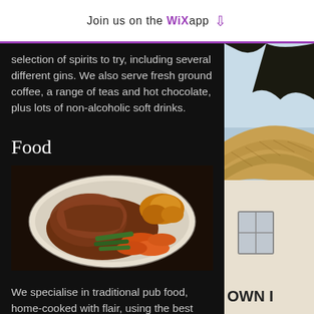Join us on the WiX app ↓
selection of spirits to try, including several different gins. We also serve fresh ground coffee, a range of teas and hot chocolate, plus lots of non-alcoholic soft drinks.
Food
[Figure (photo): A plate of traditional pub food showing sliced roast meat with carrots, green beans, and roast potatoes on a white plate.]
We specialise in traditional pub food, home-cooked with flair, using the best local ingredients.
We offer a proper home-cooked roast